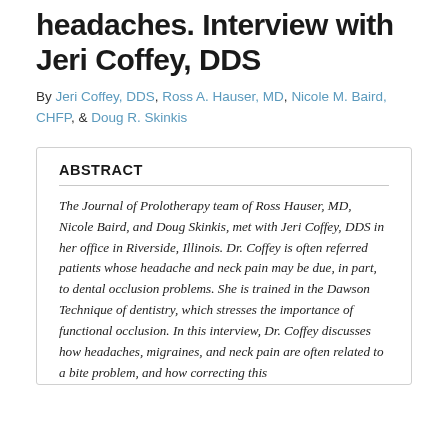headaches. Interview with Jeri Coffey, DDS
By Jeri Coffey, DDS, Ross A. Hauser, MD, Nicole M. Baird, CHFP, & Doug R. Skinkis
ABSTRACT
The Journal of Prolotherapy team of Ross Hauser, MD, Nicole Baird, and Doug Skinkis, met with Jeri Coffey, DDS in her office in Riverside, Illinois. Dr. Coffey is often referred patients whose headache and neck pain may be due, in part, to dental occlusion problems. She is trained in the Dawson Technique of dentistry, which stresses the importance of functional occlusion. In this interview, Dr. Coffey discusses how headaches, migraines, and neck pain are often related to a bite problem, and how correcting this